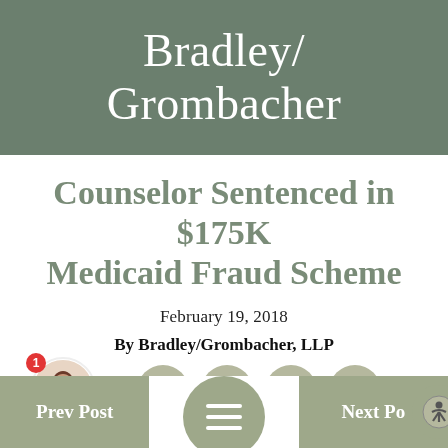[Figure (logo): Bradley/Grombacher law firm logo — white serif text on sage green background]
Counselor Sentenced in $175K Medicaid Fraud Scheme
February 19, 2018
By Bradley/Grombacher, LLP
[Figure (infographic): Author avatar photo with notification badge '1', and social media share icons for Facebook, Twitter, Pinterest, LinkedIn]
Prev Post | (hamburger menu) | Next Post